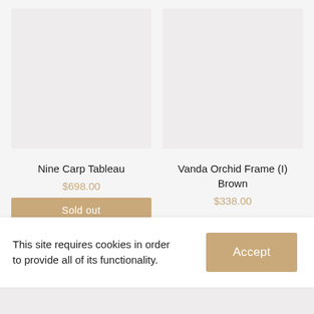[Figure (photo): Product image placeholder for Nine Carp Tableau, light grey rectangle]
[Figure (photo): Product image placeholder for Vanda Orchid Frame (I) Brown, light grey rectangle]
Nine Carp Tableau
$698.00
Vanda Orchid Frame (I) Brown
$338.00
This site requires cookies in order to provide all of its functionality.
Accept